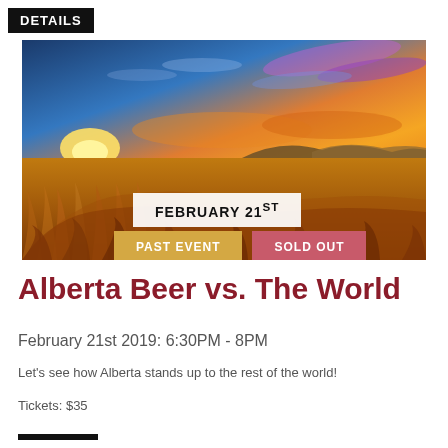DETAILS
[Figure (photo): Sunset over a golden wheat field in Alberta with blue and orange sky. Overlaid text badges: 'FEBRUARY 21ST', 'PAST EVENT', 'SOLD OUT']
Alberta Beer vs. The World
February 21st 2019: 6:30PM - 8PM
Let's see how Alberta stands up to the rest of the world!
Tickets: $35